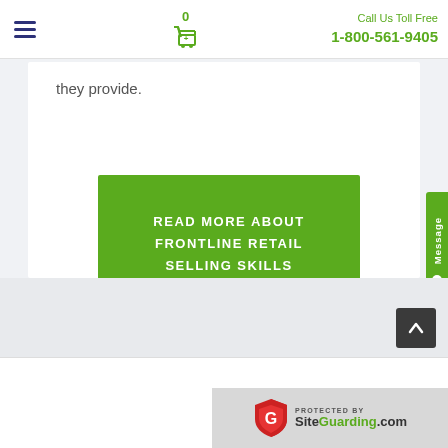0  1-800-561-9405  Call Us Toll Free
they provide.
[Figure (screenshot): Green CTA button reading READ MORE ABOUT FRONTLINE RETAIL SELLING SKILLS]
[Figure (logo): SiteGuarding.com protected by badge with shield logo]